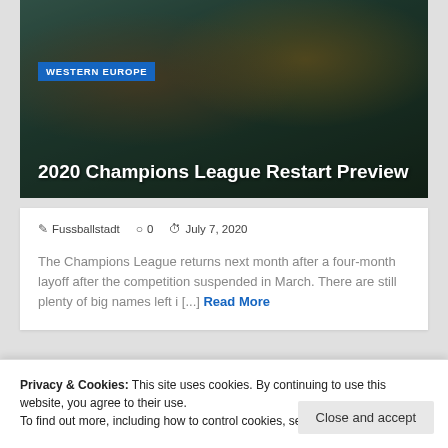[Figure (photo): Sports photo showing soccer/football players in orange and teal uniforms with dark overlay]
WESTERN EUROPE
2020 Champions League Restart Preview
Fussballstadt   0   July 7, 2020
The Champions League returns next month after a four-month layoff after the competition suspended in March. There are still plenty of big names left i [...] Read More
LOAD MORE
Privacy & Cookies: This site uses cookies. By continuing to use this website, you agree to their use.
To find out more, including how to control cookies, see here: Cookie Policy
Close and accept